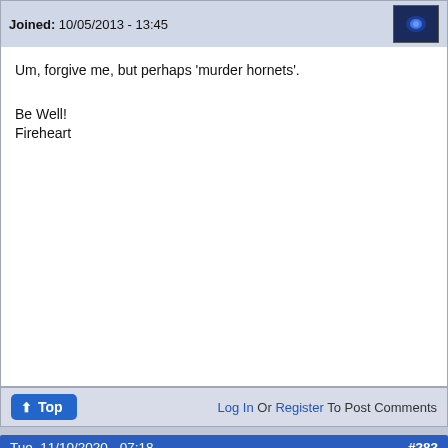Joined: 10/05/2013 - 13:45
Um, forgive me, but perhaps 'murder hornets'.

Be Well!
Fireheart
Top | Log In Or Register To Post Comments
Tue, 11/10/2020 - 07:18  #283
Lothic
Offline
Last seen: 1 month 2 weeks ago